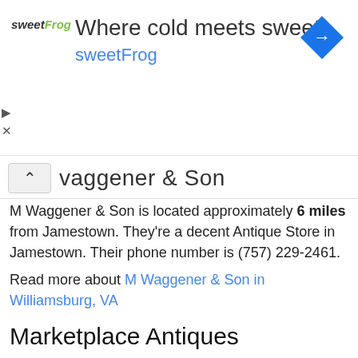[Figure (other): sweetFrog advertisement banner with logo, headline 'Where cold meets sweet', subline 'sweetFrog', and a blue diamond navigation icon]
aggener & Son
M Waggener & Son is located approximately 6 miles from Jamestown. They're a decent Antique Store in Jamestown. Their phone number is (757) 229-2461.
Read more about M Waggener & Son in Williamsburg, VA
Marketplace Antiques
Marketplace Antiques is located approximately 18 miles from Jamestown. If you want to pay them a visit, go to 4872 George Washington Mem Hwy. Contact them at (804) 694-0544.